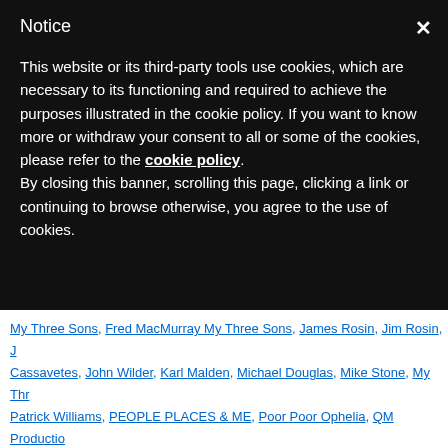Notice
This website or its third-party tools use cookies, which are necessary to its functioning and required to achieve the purposes illustrated in the cookie policy. If you want to know more or withdraw your consent to all or some of the cookies, please refer to the cookie policy.
By closing this banner, scrolling this page, clicking a link or continuing to browse otherwise, you agree to the use of cookies.
My Three Sons, Fred MacMurray My Three Sons, James Rosin, Jim Rosin, J Cassavetes, John Wilder, Karl Malden, Michael Douglas, Mike Stone, My Thr Patrick Williams, PEOPLE PLACES & ME, Poor Poor Ophelia, QM Productio Railsback, The Importance of Being Ernie, The Streets of San Francisco, The TV Series, William Demarest My Three Sons, William Yates | Leave a comme
Podcast of TV CONFIDENTIAL Show No. Mentored Barbara Eden with guest Micha available online for listening on demand...